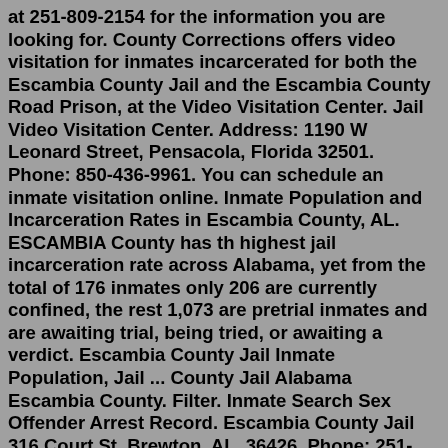at 251-809-2154 for the information you are looking for. County Corrections offers video visitation for inmates incarcerated for both the Escambia County Jail and the Escambia County Road Prison, at the Video Visitation Center. Jail Video Visitation Center. Address: 1190 W Leonard Street, Pensacola, Florida 32501. Phone: 850-436-9961. You can schedule an inmate visitation online. Inmate Population and Incarceration Rates in Escambia County, AL. ESCAMBIA County has th highest jail incarceration rate across Alabama, yet from the total of 176 inmates only 206 are currently confined, the rest 1,073 are pretrial inmates and are awaiting trial, being tried, or awaiting a verdict. Escambia County Jail Inmate Population, Jail ... County Jail Alabama Escambia County. Filter. Inmate Search Sex Offender Arrest Record. Escambia County Jail 316 Court St, Brewton, AL, 36426. Phone: 251-809-0741 Largest Database of Escambia County Mugshots. Constantly updated. ... 7/26 9:26 am 1 View. STEPHEN COOK. STEPHEN